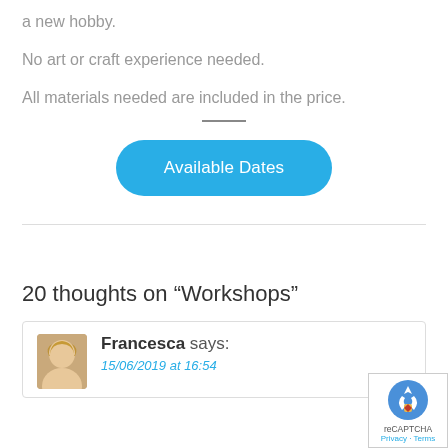a new hobby.
No art or craft experience needed.
All materials needed are included in the price.
[Figure (other): Blue rounded button labeled 'Available Dates']
20 thoughts on “Workshops”
Francesca says:
15/06/2019 at 16:54